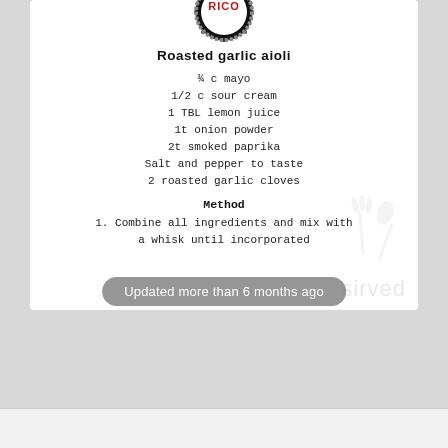[Figure (logo): Circular logo with red text and skull decorations at top of recipe card]
Roasted garlic aioli
¾ c mayo
1/2 c sour cream
1 TBL lemon juice
1t onion powder
2t smoked paprika
Salt and pepper to taste
2 roasted garlic cloves
Method
1. Combine all ingredients and mix with a whisk until incorporated
Updated more than 6 months ago